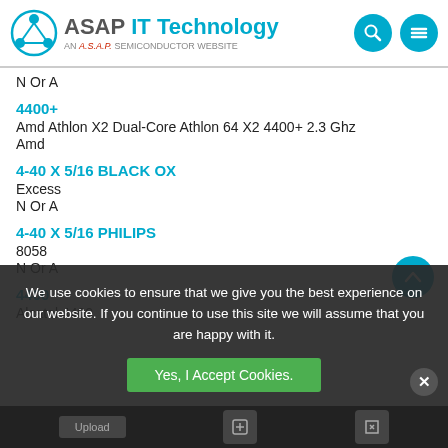ASAP IT Technology - AN A.S.A.P. SEMICONDUCTOR WEBSITE
N Or A
4400+
Amd Athlon X2 Dual-Core Athlon 64 X2 4400+ 2.3 Ghz
Amd
4-40 X 5/16 BLACK OX
Excess
N Or A
4-40 X 5/16 PHILIPS
8058
N Or A
4400
Alcatel 4400
Alcatel Lucent
UNSPSC 53131706
N Or A
We use cookies to ensure that we give you the best experience on our website. If you continue to use this site we will assume that you are happy with it.
Yes, I Accept Cookies.